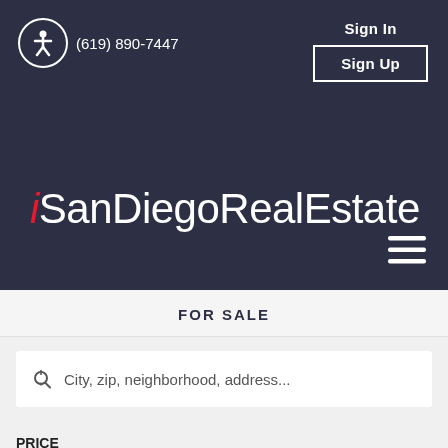(619) 890-7447
Sign In
Sign Up
iSanDiegoRealEstate
FOR SALE
City, zip, neighborhood, address...
PRICE